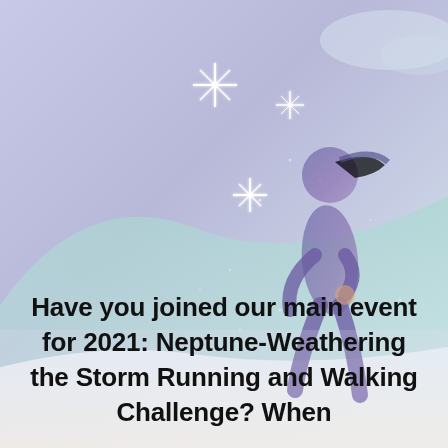[Figure (illustration): A dreamy, pastel-toned illustration showing a running silhouette of a person with a ponytail against a background of soft lavender, teal, and cream wave shapes suggesting hills or landscape. Several star/sparkle shapes in white are scattered in the upper area. The overall mood is ethereal and wintry.]
Have you joined our main event for 2021: Neptune-Weathering the Storm Running and Walking Challenge? When